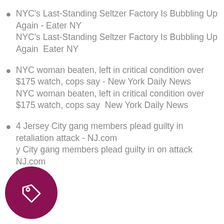NYC's Last-Standing Seltzer Factory Is Bubbling Up Again - Eater NY
NYC's Last-Standing Seltzer Factory Is Bubbling Up Again  Eater NY
NYC woman beaten, left in critical condition over $175 watch, cops say - New York Daily News
NYC woman beaten, left in critical condition over $175 watch, cops say  New York Daily News
4 Jersey City gang members plead guilty in retaliation attack - NJ.com
y City gang members plead guilty in on attack  NJ.com
[Figure (illustration): Dark magenta/purple circle with a price tag icon (outline of a tag with a small circle hole) in white]